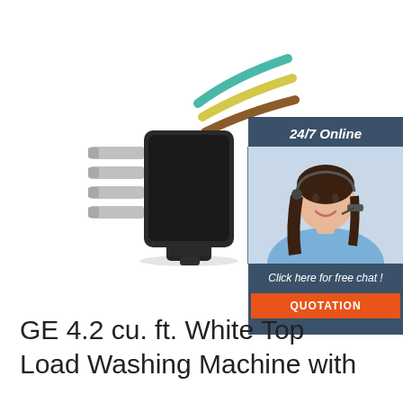[Figure (photo): A black multi-pin electrical connector with four metal pins on the left side and colored wires (teal/green, yellow, brown) extending to the upper right. White background.]
[Figure (infographic): Advertisement sidebar with dark blue background. Top text: '24/7 Online' in italic white. Center: photo of a smiling woman with headset wearing a light blue shirt. Bottom text: 'Click here for free chat !' in white italic. Orange button with text 'QUOTATION' in white bold.]
GE 4.2 cu. ft. White Top Load Washing Machine with ...